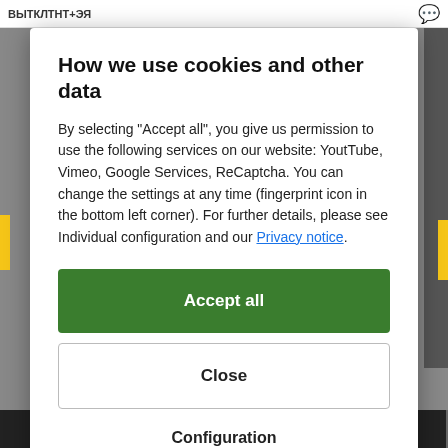How we use cookies and other data
By selecting "Accept all", you give us permission to use the following services on our website: YoutTube, Vimeo, Google Services, ReCaptcha. You can change the settings at any time (fingerprint icon in the bottom left corner). For further details, please see Individual configuration and our Privacy notice.